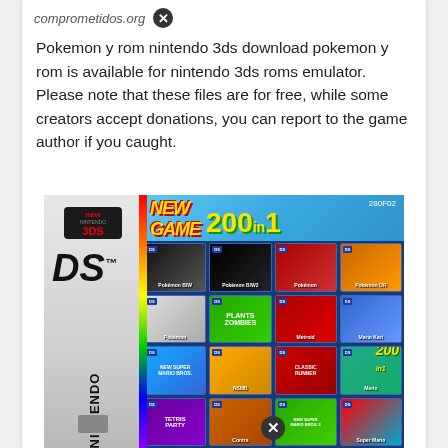comprometidos.org ✕
Pokemon y rom nintendo 3ds download pokemon y rom is available for nintendo 3ds roms emulator. Please note that these files are for free, while some creators accept donations, you can report to the game author if you caught.
[Figure (photo): Nintendo DS game cartridge showing '200 in 1' compilation with Pokemon and other games (Plants vs Zombies, Mario Kart, Super Mario Bros, Tetris, etc.) on the cover art. Black Nintendo DS logo on left spine, colorful game grid on right showing 16 game thumbnails in a 4x4 grid.]